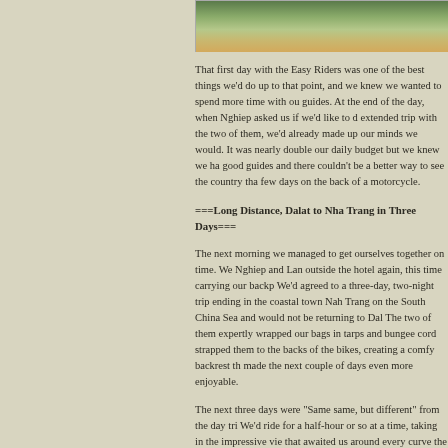[Figure (photo): Partial photo at top of page showing outdoor scene with greenery and rocks/dirt]
That first day with the Easy Riders was one of the best things we'd done up to that point, and we knew we wanted to spend more time with our guides. At the end of the day, when Nghiep asked us if we'd like to do an extended trip with the two of them, we'd already made up our minds that we would. It was nearly double our daily budget but we knew we had good guides and there couldn't be a better way to see the country than a few days on the back of a motorcycle.
===Long Distance, Dalat to Nha Trang in Three Days===
The next morning we managed to get ourselves together on time. We met Nghiep and Lan outside the hotel again, this time carrying our backpacks. We'd agreed to a three-day, two-night trip ending in the coastal town of Nah Trang on the South China Sea and would not be returning to Dalat. The two of them expertly wrapped our bags in tarps and bungee cords and strapped them to the backs of the bikes, creating a comfy backrest that made the next couple of days even more enjoyable.
The next three days were "Same same, but different" from the day trip. We'd ride for a half-hour or so at a time, taking in the impressive views that awaited us around every curve the mountain road. I'd inevitable be lulled into a kind of trance by the sound of the wind and the awesome landscapes and then snap out of it when we stopped at a seemingly